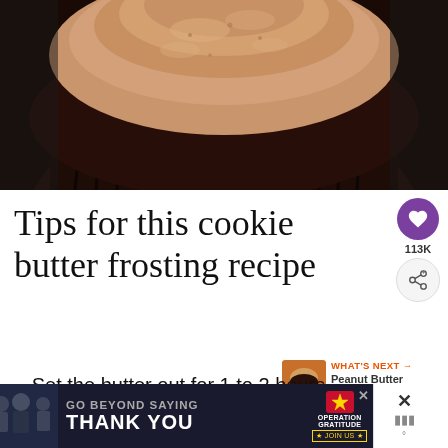[Figure (photo): Close-up photo of a chocolate cupcake with tan/caramel-colored cookie butter frosting swirled on top, in a dark ribbed cupcake liner, on a white background.]
Tips for this cookie butter frosting recipe
Set the butter out for 1 to 2 hours
[Figure (screenshot): Advertisement banner: 'GO BEYOND SAYING THANK YOU' with Operation Gratitude logo and 'JOIN US' button, with a close button on the right.]